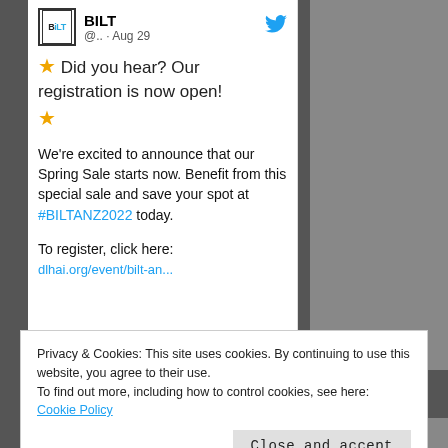[Figure (screenshot): BILT Twitter/social media post card showing BILT logo, Twitter bird icon, handle @.. · Aug 29, star emoji text 'Did you hear? Our registration is now open!', and body text about Spring Sale and #BILTANZ2022]
⭐ Did you hear? Our registration is now open! ⭐
We're excited to announce that our Spring Sale starts now. Benefit from this special sale and save your spot at #BILTANZ2022 today.
To register, click here:
Privacy & Cookies: This site uses cookies. By continuing to use this website, you agree to their use.
To find out more, including how to control cookies, see here: Cookie Policy
Close and accept